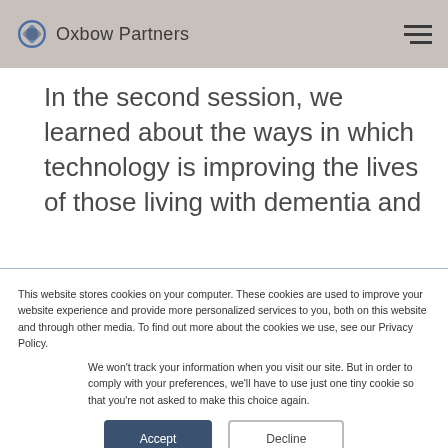Oxbow Partners
In the second session, we learned about the ways in which technology is improving the lives of those living with dementia and
This website stores cookies on your computer. These cookies are used to improve your website experience and provide more personalized services to you, both on this website and through other media. To find out more about the cookies we use, see our Privacy Policy.
We won't track your information when you visit our site. But in order to comply with your preferences, we'll have to use just one tiny cookie so that you're not asked to make this choice again.